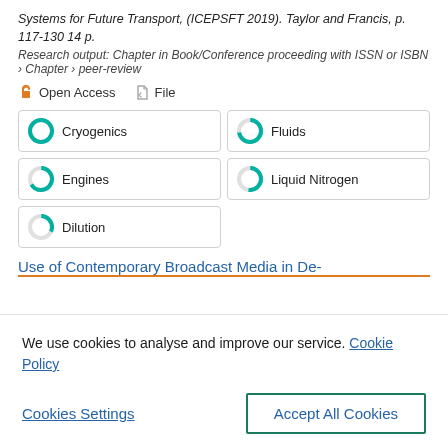Systems for Future Transport, (ICEPSFT 2019). Taylor and Francis, p. 117-130 14 p.
Research output: Chapter in Book/Conference proceeding with ISSN or ISBN › Chapter › peer-review
🔓 Open Access   📎 File
Cryogenics
Fluids
Engines
Liquid Nitrogen
Dilution
Use of Contemporary Broadcast Media in De-
We use cookies to analyse and improve our service. Cookie Policy
Cookies Settings    Accept All Cookies